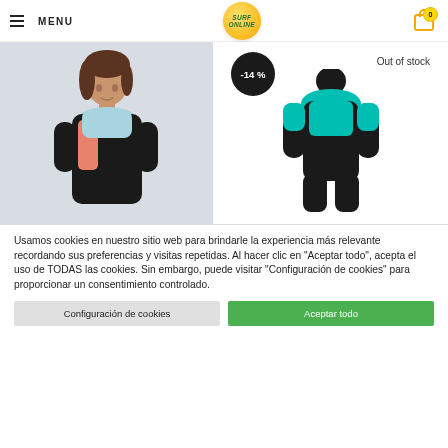MENU | SURF ONLINE | 0
[Figure (photo): Woman wearing a short-sleeve black and coral/blue wetsuit, product photo on grey background]
[Figure (photo): Full-body wetsuit in black and teal/cyan color, product photo on white background, labeled Out of stock with -14% discount badge]
Usamos cookies en nuestro sitio web para brindarle la experiencia más relevante recordando sus preferencias y visitas repetidas. Al hacer clic en "Aceptar todo", acepta el uso de TODAS las cookies. Sin embargo, puede visitar "Configuración de cookies" para proporcionar un consentimiento controlado.
Configuración de cookies
Aceptar todo